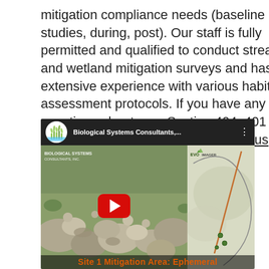mitigation compliance needs (baseline studies, during, post). Our staff is fully permitted and qualified to conduct stream and wetland mitigation surveys and has extensive experience with various habitat assessment protocols. If you have any questions about your Section 404, 401 or other mitigation compliance Contact us or request a quote today.
[Figure (screenshot): YouTube video embed showing Biological Systems Consultants channel with a split thumbnail: left side shows rocky stream bed in grassland, right side shows aerial/map view with EVO IMAGER watermark. Video title area shows 'Site 1 Mitigation Area: Ephemeral' with play button overlay.]